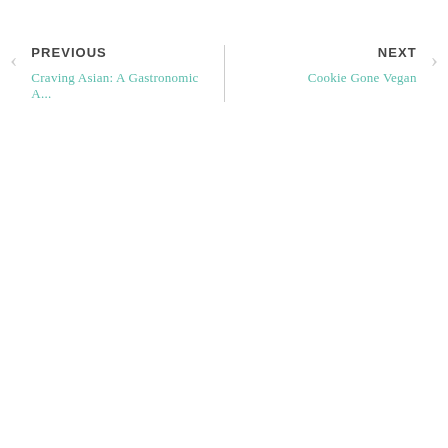PREVIOUS
Craving Asian: A Gastronomic A...
NEXT
Cookie Gone Vegan